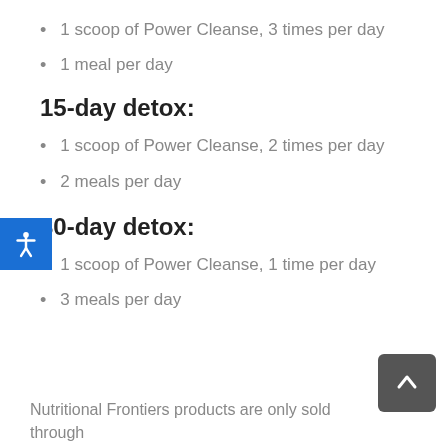1 scoop of Power Cleanse, 3 times per day
1 meal per day
15-day detox:
1 scoop of Power Cleanse, 2 times per day
2 meals per day
30-day detox:
1 scoop of Power Cleanse, 1 time per day
3 meals per day
Nutritional Frontiers products are only sold through